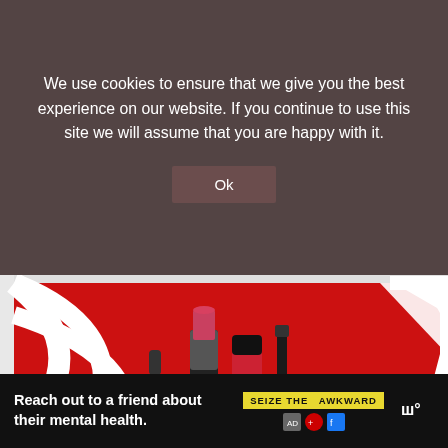We use cookies to ensure that we give you the best experience on our website. If you continue to use this site we will assume that you are happy with it.
Ok
[Figure (photo): MAC Cosmetics product set on a red and white swirling striped background. Shows lipstick, liquid lipstick, mascara, and eyeliner products arranged in front of a branded red and white display box.]
Image: MAC Cosmetics
[Figure (photo): Small circular thumbnail of drugstore beauty products (nail polishes, foundations) for 'What's Next' section.]
WHAT'S NEXT → The Best Drugstore...
Reach out to a friend about their mental health.
SEIZE THE AWKWARD